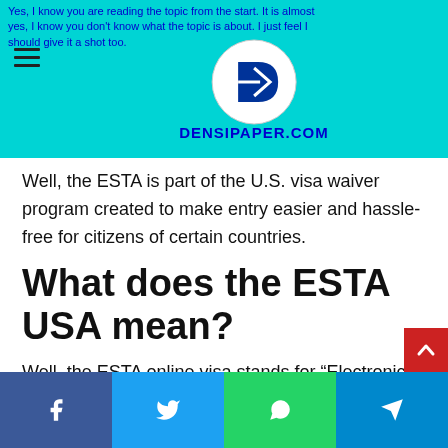Yes, I know you are reading the topic... yes, I know you don't know what the topic is about. I just feel I should give it a shot too.
Well, the ESTA is part of the U.S. visa waiver program created to make entry easier and hassle-free for citizens of certain countries.
What does the ESTA USA mean?
Well, the ESTA online visa stands for “Electronic System for Travel Authorization.” It is a digital authorization given by the U.S. government to businessmen and tourists coming into the U.S. The visa allows tourists to come into America and stay for 90 days in the country. In a way, the ESTA is similar to the e